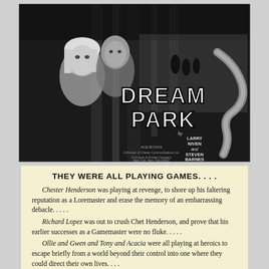[Figure (photo): Black and white photo book cover: 'Dream Park' by Larry Niven and Steven Barnes. Shows a blonde woman and man in a forest, with a large snake visible on the right. Published by Ace Books.]
THEY WERE ALL PLAYING GAMES. . . .
Chester Henderson was playing at revenge, to shore up his faltering reputation as a Loremaster and erase the memory of an embarrassing debacle. . . . . Richard Lopez was out to crush Chet Henderson, and prove that his earlier successes as a Gamemaster were no fluke. . . . . Ollie and Gwen and Tony and Acacia were all playing at heroics to escape briefly from a world beyond their control into one where they could direct their own lives. . . . Yes, they were all playing games—and then suddenly one of